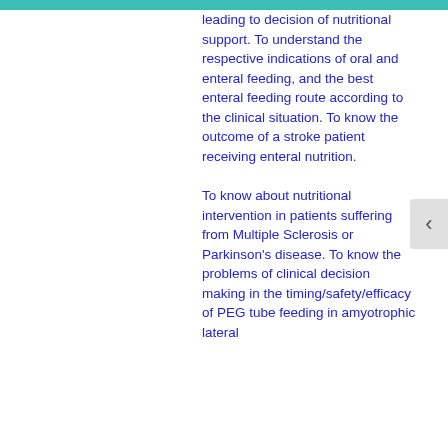leading to decision of nutritional support. To understand the respective indications of oral and enteral feeding, and the best enteral feeding route according to the clinical situation. To know the outcome of a stroke patient receiving enteral nutrition. To know about nutritional intervention in patients suffering from Multiple Sclerosis or Parkinson's disease. To know the problems of clinical decision making in the timing/safety/efficacy of PEG tube feeding in amyotrophic lateral